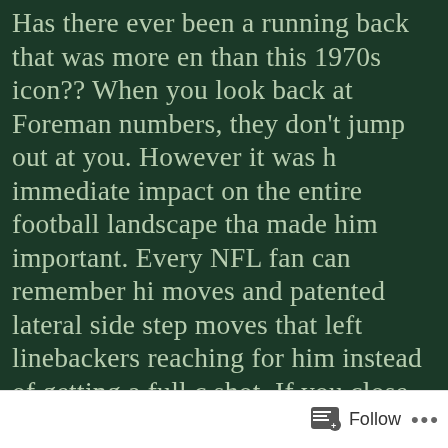Has there ever been a running back that was more en than this 1970s icon?? When you look back at Foreman numbers, they don't jump out at you. However it was h immediate impact on the entire football landscape tha made him important. Every NFL fan can remember hi moves and patented lateral side step moves that left linebackers reaching for him instead of getting a full c shot. If you close your eyes right now you can picture t famous shot from Super Bowl XI against the Raiders a spun off two defenders. He was one of the breath-taki runners of the 1970's...and before we get into the full argument, remember he spent many of his best years fullback. Yes, at fullback!
Advertisements
[Figure (screenshot): Advertisement banner showing Parse.ly logo with a green leaf icon and partial image of a book/document on the right side]